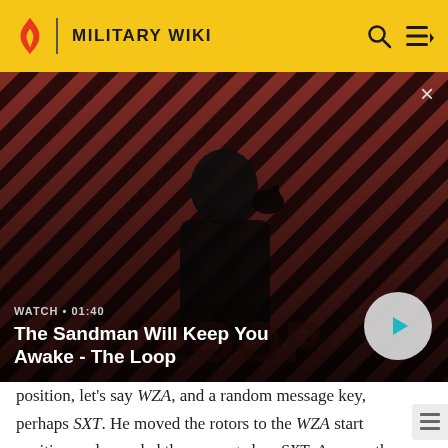MILITARY WIKI
[Figure (screenshot): Video thumbnail showing a dark figure with a raven on shoulder against a red and black diagonal striped background. Video title overlay reads 'WATCH • 01:40' and 'The Sandman Will Keep You Awake - The Loop' with a play button circle on the right.]
position, let's say WZA, and a random message key, perhaps SXT. He moved the rotors to the WZA start position and encoded the message key SXT. Assume the result was UHL. He then set up the message key, SXT, as the start position and encrypted the message. Next, he transmitted the start position, WZA, the encoded message